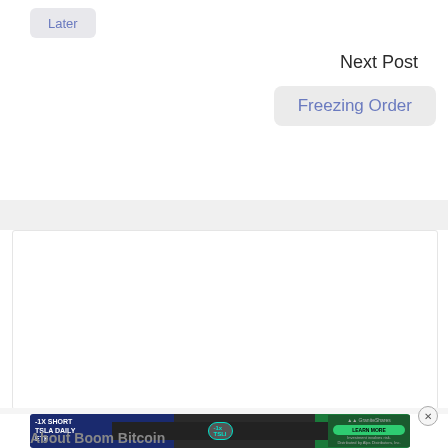Later
Next Post
Freezing Order
[Figure (photo): Headshot of a middle-aged man looking upward, wearing a white shirt, photographed outdoors against a blurred background]
[Figure (infographic): Advertisement banner: -1X SHORT TSLA DAILY ETF with TSLI ticker pill, car image, GraniteShares logo and LEARN MORE button]
About Boom Bitcoin